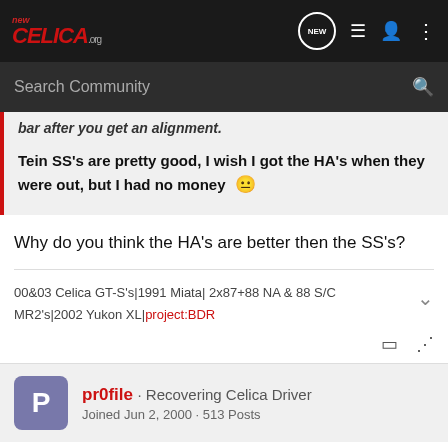NEW CELICA .org — navigation bar with search
bar after you get an alignment.
Tein SS's are pretty good, I wish I got the HA's when they were out, but I had no money 😐
Why do you think the HA's are better then the SS's?
00&03 Celica GT-S's|1991 Miata| 2x87+88 NA & 88 S/C MR2's|2002 Yukon XL|project:BDR
pr0file · Recovering Celica Driver · Joined Jun 2, 2000 · 513 Posts